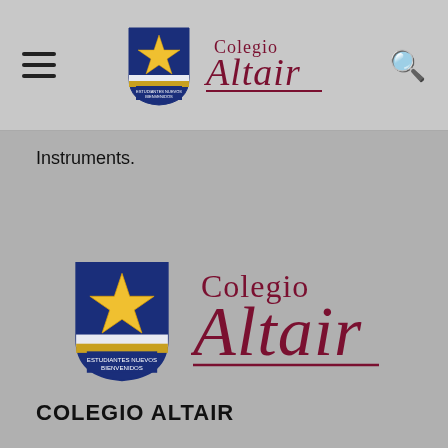Colegio Altair
Instruments.
[Figure (logo): Colegio Altair logo — blue shield with gold star and text, next to 'Colegio Altair' in dark red cursive font with underline]
COLEGIO ALTAIR